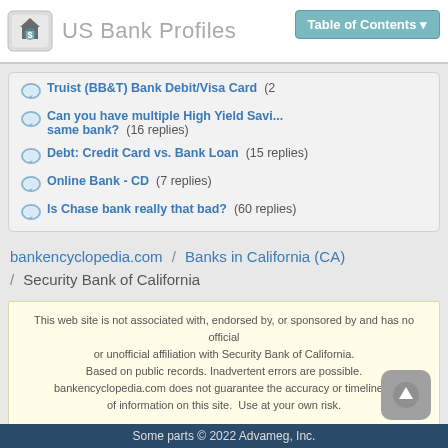US Bank Profiles
Truist (BB&T) Bank Debit/Visa Card (2 replies)
Can you have multiple High Yield Savings accounts at the same bank? (16 replies)
Debt: Credit Card vs. Bank Loan (15 replies)
Online Bank - CD (7 replies)
Is Chase bank really that bad? (60 replies)
bankencyclopedia.com / Banks in California (CA) / Security Bank of California
This web site is not associated with, endorsed by, or sponsored by and has no official or unofficial affiliation with Security Bank of California. Based on public records. Inadvertent errors are possible. bankencyclopedia.com does not guarantee the accuracy or timeliness of information on this site. Use at your own risk.
Some parts © 2022 Advameg, Inc.